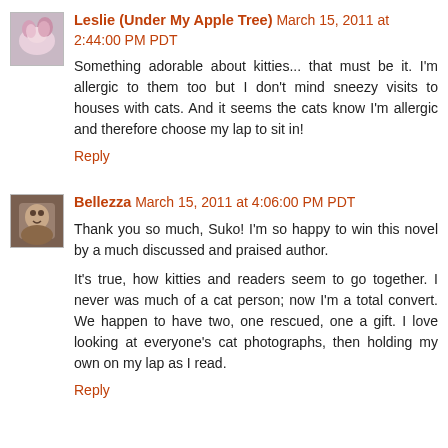Leslie (Under My Apple Tree) March 15, 2011 at 2:44:00 PM PDT
Something adorable about kitties... that must be it. I'm allergic to them too but I don't mind sneezy visits to houses with cats. And it seems the cats know I'm allergic and therefore choose my lap to sit in!
Reply
Bellezza March 15, 2011 at 4:06:00 PM PDT
Thank you so much, Suko! I'm so happy to win this novel by a much discussed and praised author.
It's true, how kitties and readers seem to go together. I never was much of a cat person; now I'm a total convert. We happen to have two, one rescued, one a gift. I love looking at everyone's cat photographs, then holding my own on my lap as I read.
Reply